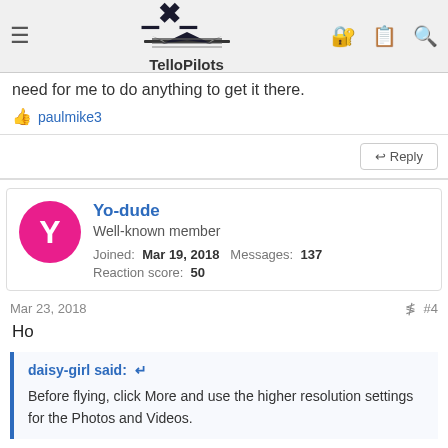TelloPilots
need for me to do anything to get it there.
paulmike3
Reply
Yo-dude
Well-known member
Joined: Mar 19, 2018  Messages: 137
Reaction score: 50
Mar 23, 2018  #4
Ho
daisy-girl said:
Before flying, click More and use the higher resolution settings for the Photos and Videos.